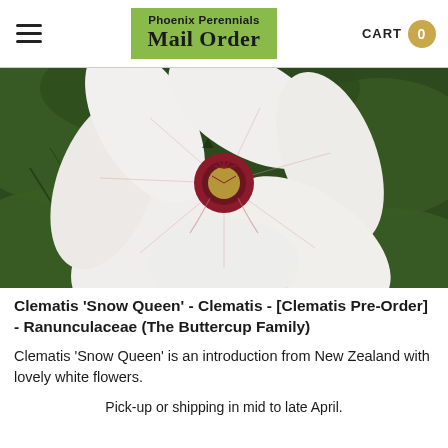Phoenix Perennials Mail Order | CART 0
[Figure (photo): Close-up photograph of a white Clematis 'Snow Queen' flower with pink-tipped stamens and delicate veining on petals, against a green leafy background]
Clematis 'Snow Queen' - Clematis - [Clematis Pre-Order] - Ranunculaceae (The Buttercup Family)
Clematis 'Snow Queen' is an introduction from New Zealand with lovely white flowers.
Pick-up or shipping in mid to late April.